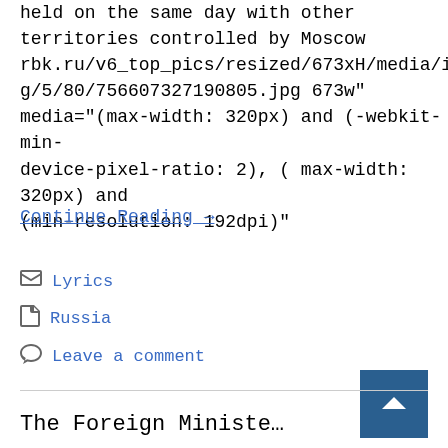held on the same day with other territories controlled by Moscow rbk.ru/v6_top_pics/resized/673xH/media/img/5/80/756607327190805.jpg 673w" media="(max-width: 320px) and (-webkit-min-device-pixel-ratio: 2), ( max-width: 320px) and (min-resolution: 192dpi)"
Continue Reading →
Lyrics
Russia
Leave a comment
The Foreign Ministe…